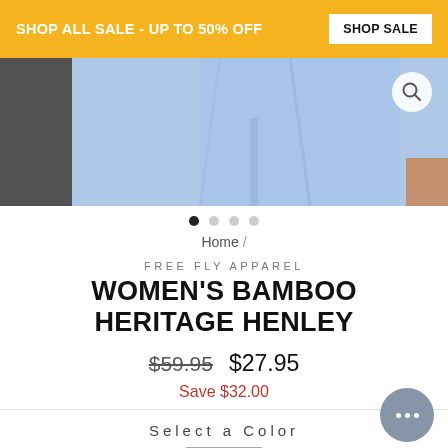SHOP ALL SALE - UP TO 50% OFF   SHOP SALE
[Figure (photo): Partial view of two models wearing jeans and tops, cropped at waist/hip level. A search/zoom icon appears in the top right of the image area.]
Home /
FREE FLY APPAREL
WOMEN'S BAMBOO HERITAGE HENLEY
$59.95  $27.95
Save $32.00
Select a Color